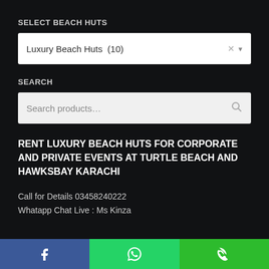SELECT BEACH HUTS
[Figure (screenshot): Dropdown selector showing 'Luxury Beach Huts (10)' with clear and dropdown arrow icons]
SEARCH
[Figure (screenshot): Search input box with placeholder 'Search products…' and a search icon button]
RENT LUXURY BEACH HUTS FOR CORPORATE AND PRIVATE EVENTS AT TURTLE BEACH AND HAWKSBAY KARACHI
Call for Details 03458240222
Whatapp Chat Live : Ms Kinza
[Figure (screenshot): Footer bar with three buttons: Facebook (blue), WhatsApp (green), Phone (green)]